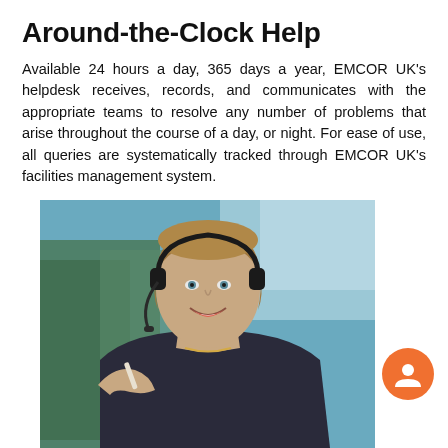Around-the-Clock Help
Available 24 hours a day, 365 days a year, EMCOR UK’s helpdesk receives, records, and communicates with the appropriate teams to resolve any number of problems that arise throughout the course of a day, or night. For ease of use, all queries are systematically tracked through EMCOR UK’s facilities management system.
[Figure (photo): A smiling woman wearing a headset and dark jacket, holding a pen, with green plants in the background. She appears to be a helpdesk operator.]
Once in the system, requests are prioritised—prior to issuing them to the maintenance team, which helps avoid inefficie…
Requesters then receive email updates when a particular status…